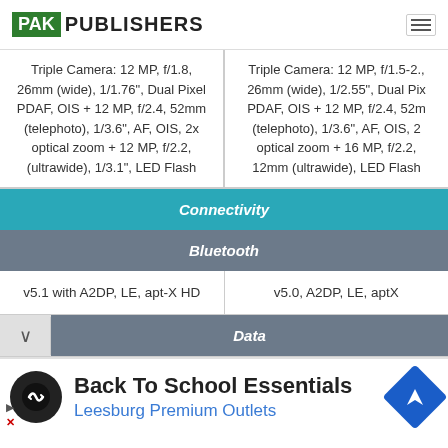PAK PUBLISHERS
| Camera (Col 1) | Camera (Col 2) |
| --- | --- |
| Triple Camera: 12 MP, f/1.8, 26mm (wide), 1/1.76", Dual Pixel PDAF, OIS + 12 MP, f/2.4, 52mm (telephoto), 1/3.6", AF, OIS, 2x optical zoom + 12 MP, f/2.2, (ultrawide), 1/3.1", LED Flash | Triple Camera: 12 MP, f/1.5-2., 26mm (wide), 1/2.55", Dual Pix PDAF, OIS + 12 MP, f/2.4, 52m (telephoto), 1/3.6", AF, OIS, 2 optical zoom + 16 MP, f/2.2, 12mm (ultrawide), LED Flash |
Connectivity
Bluetooth
| Col1 | Col2 |
| --- | --- |
| v5.1 with A2DP, LE, apt-X HD | v5.0, A2DP, LE, aptX |
Data
[Figure (infographic): Advertisement banner: Back To School Essentials - Leesburg Premium Outlets]